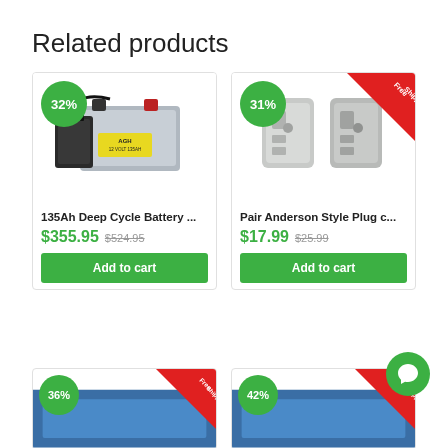Related products
[Figure (photo): 135Ah Deep Cycle Battery product image with 32% discount badge]
135Ah Deep Cycle Battery ...
$355.95  $524.95
Add to cart
[Figure (photo): Pair Anderson Style Plug connector product image with 31% discount badge and Free Shipping ribbon]
Pair Anderson Style Plug c...
$17.99  $25.99
Add to cart
[Figure (photo): Partial product card showing 36% discount badge and Free Shipping ribbon]
[Figure (photo): Partial product card showing 42% discount badge and Free Shipping ribbon]